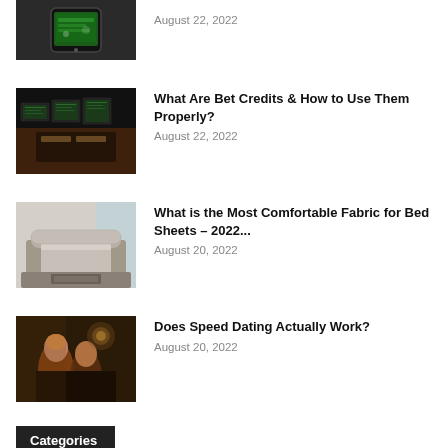[Figure (photo): Hands holding a smartphone with a sports betting app on screen]
August 22, 2022
[Figure (photo): Sports betting hall with large screens showing betting odds]
What Are Bet Credits & How to Use Them Properly?
August 22, 2022
[Figure (photo): Elegant bedroom with a tufted headboard and grey bed sheets]
What is the Most Comfortable Fabric for Bed Sheets – 2022...
August 20, 2022
[Figure (photo): Two people on a date at a bar or restaurant, speed dating scene]
Does Speed Dating Actually Work?
August 20, 2022
Categories
Advertising News